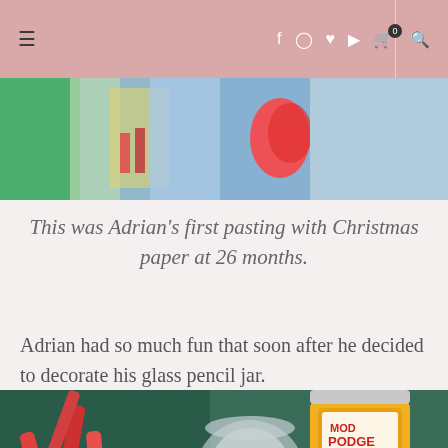≡  f  Instagram  Pinterest  YouTube  🛒 0  🔍
[Figure (photo): Christmas craft scene with colorful paper and holiday decorations on a table]
This was Adrian's first pasting with Christmas paper at 26 months.
Adrian had so much fun that soon after he decided to decorate his glass pencil jar.
[Figure (photo): Craft supplies including a basket of red and yellow paper strips, a glass jar, and a bottle of Mod Podge on a teal surface]